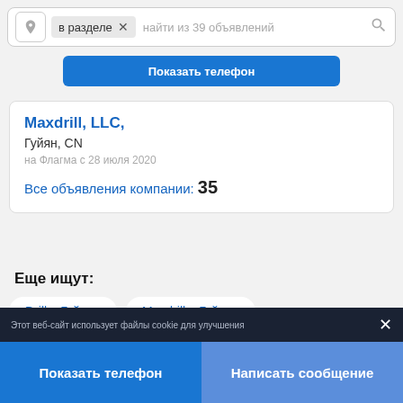[Figure (screenshot): Search bar with location pin icon, 'в разделе' tag with X, placeholder text 'найти из 39 объявлений', and search magnifier icon]
Показать телефон
Maxdrill, LLC,
Гуйян, CN
на Флагма с 28 июля 2020
Все объявления компании: 35
Еще ищут:
Drill в Гуйяне
Maxdrill в Гуйяне
Этот веб-сайт использует файлы cookie для улучшения
Показать телефон
Написать сообщение